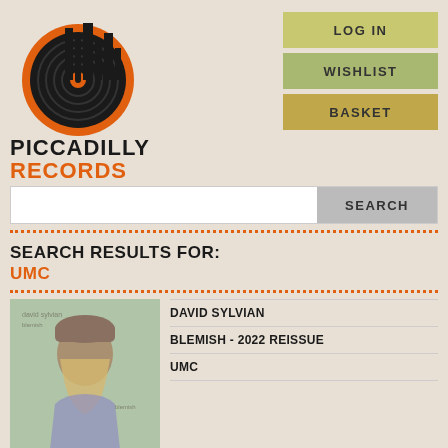[Figure (logo): Piccadilly Records logo with vinyl record graphic and city skyline silhouette, with text PICCADILLY RECORDS]
LOG IN
WISHLIST
BASKET
SEARCH
SEARCH RESULTS FOR: UMC
[Figure (photo): Album cover for David Sylvian - Blemish 2022 Reissue showing a person with long hair wearing a beanie hat]
DAVID SYLVIAN
BLEMISH - 2022 REISSUE
UMC
LP  £21.99
WISHLIST
PREORDER